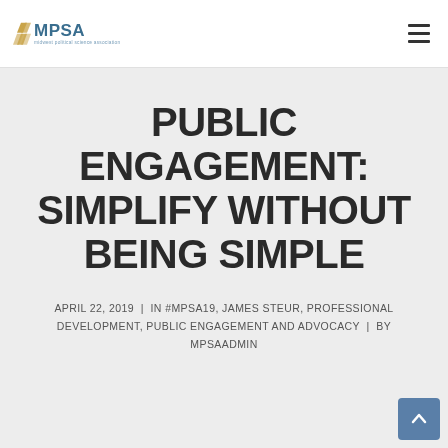MPSA – Midwest Political Science Association
PUBLIC ENGAGEMENT: SIMPLIFY WITHOUT BEING SIMPLE
APRIL 22, 2019 | IN #MPSA19, JAMES STEUR, PROFESSIONAL DEVELOPMENT, PUBLIC ENGAGEMENT AND ADVOCACY | BY MPSAADMIN